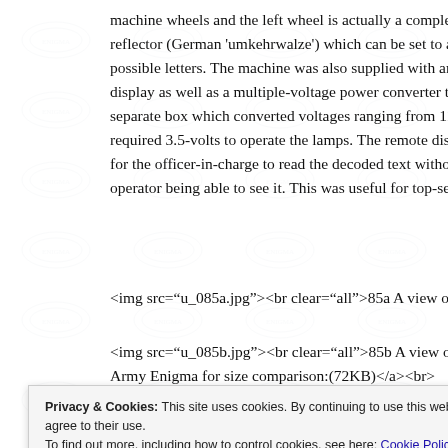machine wheels and the left wheel is actually a completely adjustable reflector (German 'umkehrwalze') which can be set to any one of the possible letters. The machine was also supplied with an external remote display as well as a multiple-voltage power converter transformer in a separate box which converted voltages ranging from 110 – 250 Volts required 3.5-volts to operate the lamps. The remote display made it possible for the officer-in-charge to read the decoded text without the cipher operator being able to see it. This was useful for top-secret messages.
<img src="u_085a.jpg"><br clear="all">85a A view of the K Enig
<img src="u_085b.jpg"><br clear="all">85b A view of the K Enigma and Army Enigma for size comparison:(72KB)</a><br>
Privacy & Cookies: This site uses cookies. By continuing to use this website, you agree to their use.
To find out more, including how to control cookies, see here: Cookie Policy
Close and accept
keyboard and 'X' key illuminated in the light panel:(75KB)</a><b